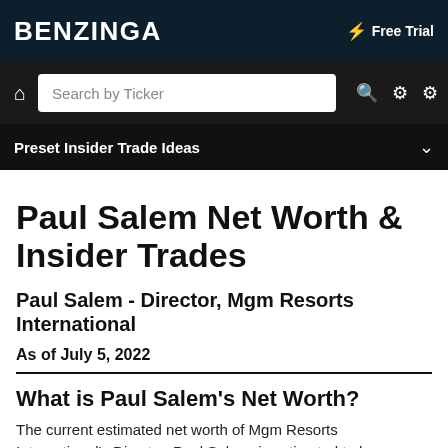BENZINGA | ⚡ Free Trial
🏠 Search by Ticker
Preset Insider Trade Ideas
Paul Salem Net Worth & Insider Trades
Paul Salem - Director, Mgm Resorts International
As of July 5, 2022
What is Paul Salem's Net Worth?
The current estimated net worth of Mgm Resorts International's Director, Paul Salem, is estimated to be